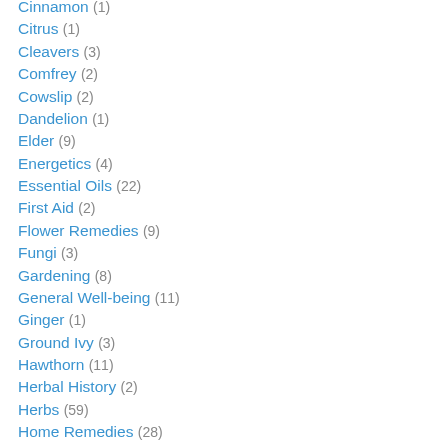Cinnamon (1)
Citrus (1)
Cleavers (3)
Comfrey (2)
Cowslip (2)
Dandelion (1)
Elder (9)
Energetics (4)
Essential Oils (22)
First Aid (2)
Flower Remedies (9)
Fungi (3)
Gardening (8)
General Well-being (11)
Ginger (1)
Ground Ivy (3)
Hawthorn (11)
Herbal History (2)
Herbs (59)
Home Remedies (28)